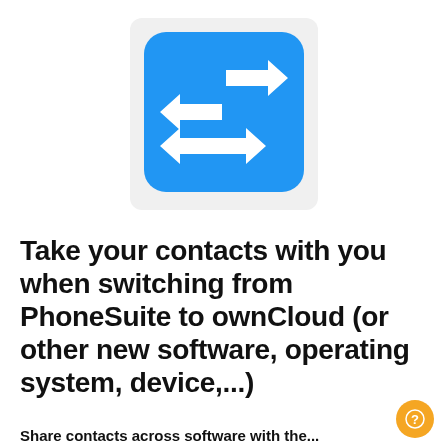[Figure (logo): Blue rounded square icon with four arrows pointing in opposite directions (left and right alternating, arranged in a 2x2 pattern), suggesting data transfer or switching]
Take your contacts with you when switching from PhoneSuite to ownCloud (or other new software, operating system, device,...)
Share contacts across software with the...